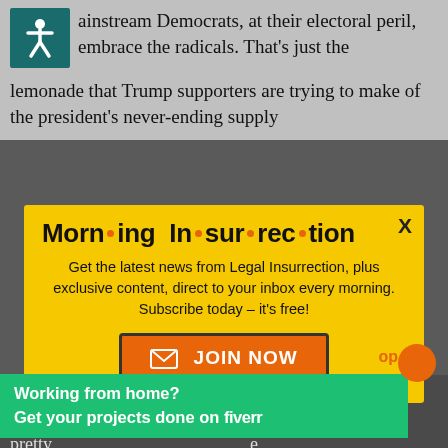ainstream Democrats, at their electoral peril, embrace the radicals. That's just the lemonade that Trump supporters are trying to make of the president's never-ending supply
[Figure (infographic): Modal popup for Morning Insurrection newsletter subscription with yellow background, orange dot bullet logo title, subscribe text, and JOIN NOW orange button]
much to think of that explanation, plus in the past an aw[ardingly]... ke a pretty [good]... e right to drink.
[Figure (infographic): Fiverr advertisement banner with green background: Working from home? Get your projects done on fiverr]